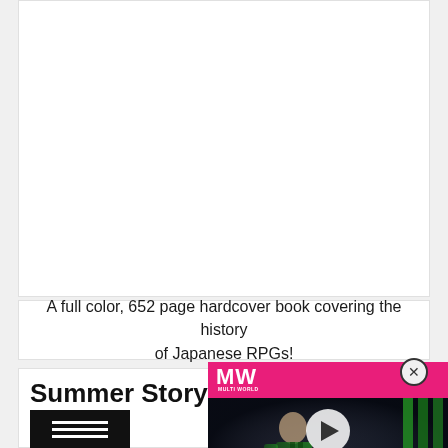[Figure (other): Empty white advertisement or content placeholder box at the top of the page]
A full color, 652 page hardcover book covering the history of Japanese RPGs!
Summer Storybundle
[Figure (other): Hamburger menu button (three horizontal lines on black background)]
[Figure (other): Video advertisement overlay for FIFA 23 Release Date, with MW (Multi World?) logo in pink bar at top, dark background with player figure, white play button in center, FIFA 23 RELEASE DATE text in pink and white at bottom left]